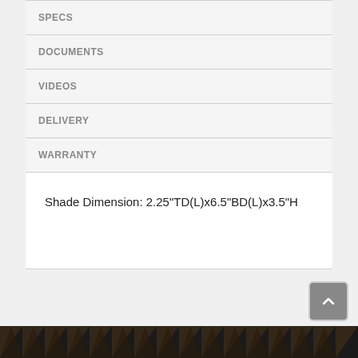SPECS
DOCUMENTS
VIDEOS
DELIVERY
WARRANTY
Shade Dimension: 2.25"TD(L)x6.5"BD(L)x3.5"H